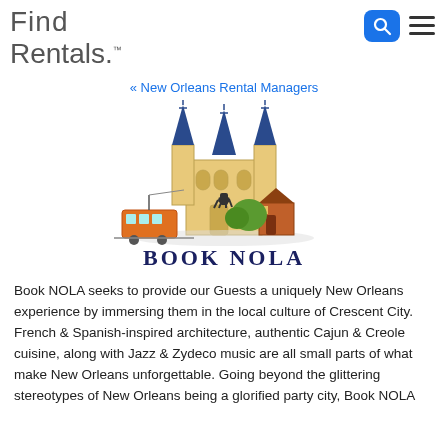Find Rentals.
« New Orleans Rental Managers
[Figure (illustration): Book NOLA logo illustration featuring a New Orleans cathedral with blue spires, a street car, a small colorful house, trees, and a horse statue. Below reads 'BOOK NOLA' in dark navy serif lettering.]
Book NOLA seeks to provide our Guests a uniquely New Orleans experience by immersing them in the local culture of Crescent City. French & Spanish-inspired architecture, authentic Cajun & Creole cuisine, along with Jazz & Zydeco music are all small parts of what make New Orleans unforgettable. Going beyond the glittering stereotypes of New Orleans being a glorified party city, Book NOLA